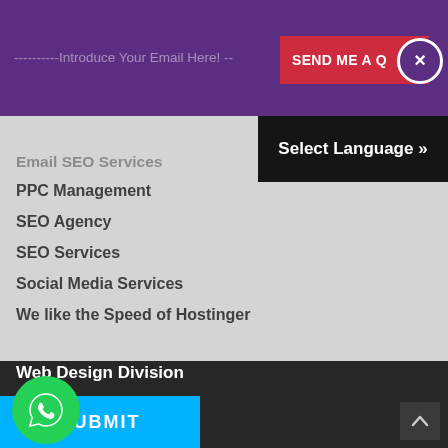[Figure (screenshot): Website UI screenshot showing a purple email signup bar at top with 'Introduce Your Email Here!' placeholder text, a red 'SEND ME A Q' button, and a white circle close button with X. Below is a light gray navigation area with menu items including 'Email SEO Services' (faded), 'PPC Management', 'SEO Agency', 'SEO Services', 'Social Media Services', 'We like the Speed of Hostinger'. A black 'Select Language »' button overlays the right side. The lower portion has a dark background with 'Web Design Division' and 'Web Design Services' links, a 'Send Me A Quote' section header with blue left border, an email address input field with placeholder 'Your email address', a green WhatsApp button, a cyan SUBMIT button, and a dark scroll-to-top button.]